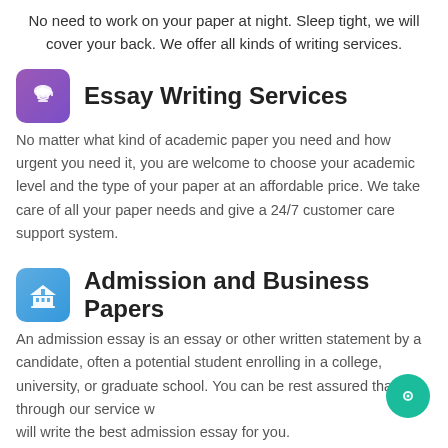No need to work on your paper at night. Sleep tight, we will cover your back. We offer all kinds of writing services.
Essay Writing Services
No matter what kind of academic paper you need and how urgent you need it, you are welcome to choose your academic level and the type of your paper at an affordable price. We take care of all your paper needs and give a 24/7 customer care support system.
Admission and Business Papers
An admission essay is an essay or other written statement by a candidate, often a potential student enrolling in a college, university, or graduate school. You can be rest assured that through our service w… will write the best admission essay for you.